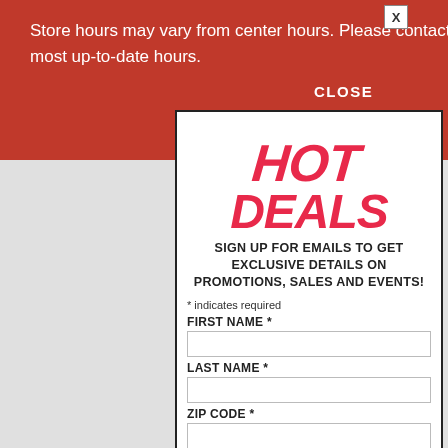Store hours may vary from center hours. Please contact retailers & restaurants directly for most up-to-date hours.
[Figure (screenshot): Hot Deals email signup modal popup with CLOSE button, showing stylized 'HOT DEALS' logo in red script, sign-up text, and form fields for First Name, Last Name, Zip Code, Email Address, and Submit button]
HOT DEALS
SIGN UP FOR EMAILS TO GET EXCLUSIVE DETAILS ON PROMOTIONS, SALES AND EVENTS!
* indicates required
FIRST NAME *
LAST NAME *
ZIP CODE *
EMAIL ADDRESS *
Submit